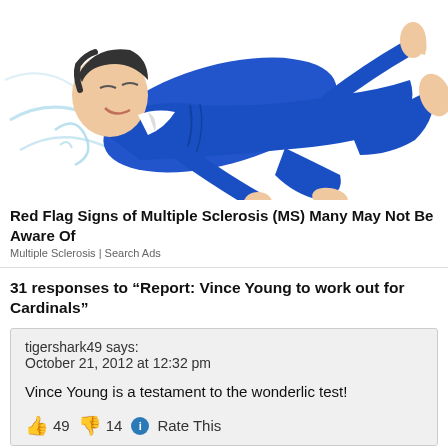[Figure (illustration): Illustration of a person in a blue suit lying down/floating, with legs raised, suggesting muscle weakness or loss of balance, typical for a Multiple Sclerosis awareness advertisement.]
Red Flag Signs of Multiple Sclerosis (MS) Many May Not Be Aware Of
Multiple Sclerosis | Search Ads
31 responses to “Report: Vince Young to work out for Cardinals”
tigershark49 says:
October 21, 2012 at 12:32 pm
Vince Young is a testament to the wonderlic test!
👍 49 👎 14 ℹ Rate This
gadzod says: